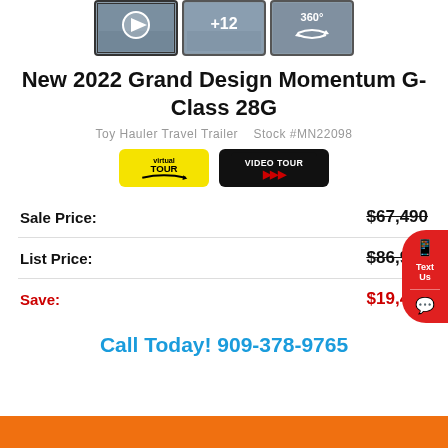[Figure (photo): Three thumbnail images: a video play button thumbnail, a +12 photos thumbnail, and a 360-degree view thumbnail of an RV interior]
New 2022 Grand Design Momentum G-Class 28G
Toy Hauler Travel Trailer    Stock #MN22098
[Figure (other): Two tour buttons: a yellow 'virtual TOUR' button with arrow icon, and a black 'VIDEO TOUR' button with red arrows]
| Label | Price |
| --- | --- |
| Sale Price: | $67,490 |
| List Price: | $86,967 |
| Save: | $19,477 |
Call Today! 909-378-9765